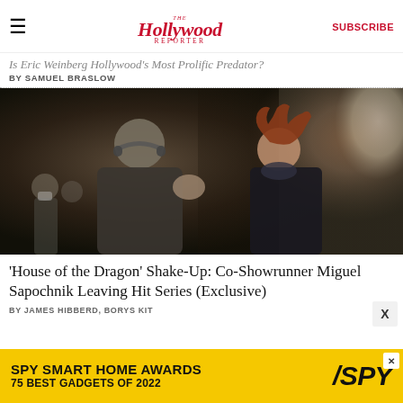The Hollywood Reporter | SUBSCRIBE
Is Eric Weinberg Hollywood's Most Prolific Predator?
BY SAMUEL BRASLOW
[Figure (photo): Two people facing each other in conversation — a man with grey hair and headphones around his neck gesturing with his hand, and a woman with curly red hair in a black outfit, on what appears to be a film set]
'House of the Dragon' Shake-Up: Co-Showrunner Miguel Sapochnik Leaving Hit Series (Exclusive)
BY JAMES HIBBERD, BORYS KIT
[Figure (screenshot): Advertisement banner: SPY SMART HOME AWARDS 75 BEST GADGETS OF 2022, yellow background with SPY logo]